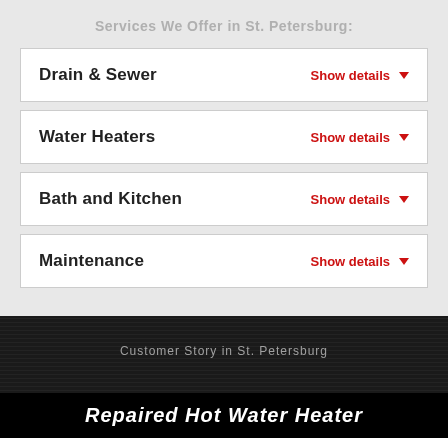Services We Offer in St. Petersburg:
Drain & Sewer — Show details
Water Heaters — Show details
Bath and Kitchen — Show details
Maintenance — Show details
Customer Story in St. Petersburg
Repaired Hot Water Heater